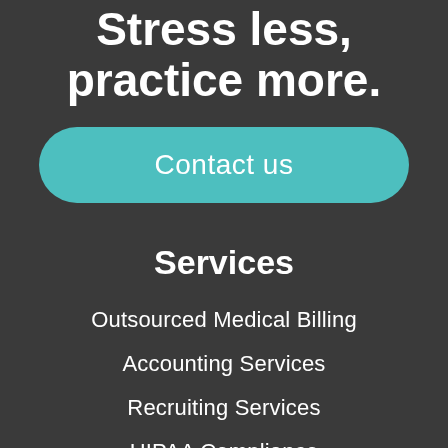Stress less, practice more.
Contact us
Services
Outsourced Medical Billing
Accounting Services
Recruiting Services
HIPAA Compliance
Coding Solutions